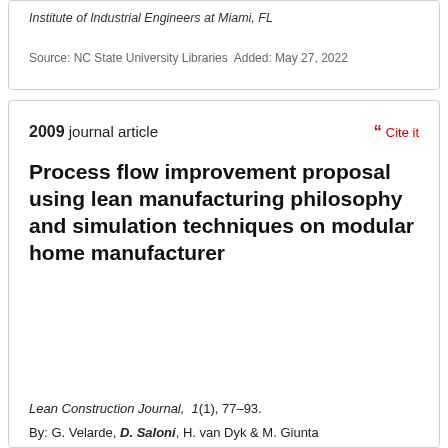Institute of Industrial Engineers at Miami, FL
Source: NC State University Libraries  Added: May 27, 2022
2009 journal article
Cite it
Process flow improvement proposal using lean manufacturing philosophy and simulation techniques on modular home manufacturer
Lean Construction Journal,  1(1), 77–93.
By: G. Velarde, D. Saloni, H. van Dyk & M. Giunta
Source: NC State University Libraries  Added: May 27, 2022